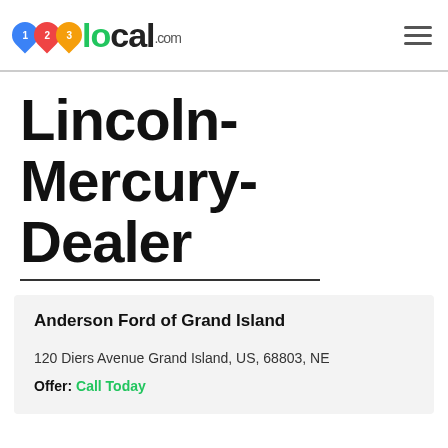123local.com
Lincoln-Mercury-Dealer
Anderson Ford of Grand Island
120 Diers Avenue Grand Island, US, 68803, NE
Offer: Call Today